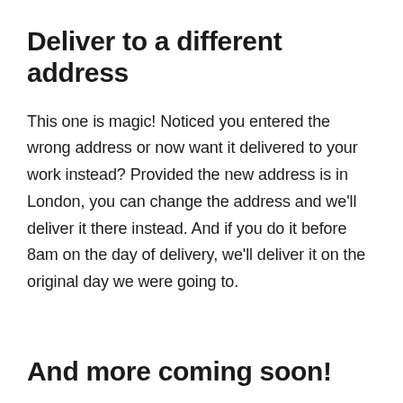Deliver to a different address
This one is magic! Noticed you entered the wrong address or now want it delivered to your work instead? Provided the new address is in London, you can change the address and we'll deliver it there instead. And if you do it before 8am on the day of delivery, we'll deliver it on the original day we were going to.
And more coming soon!